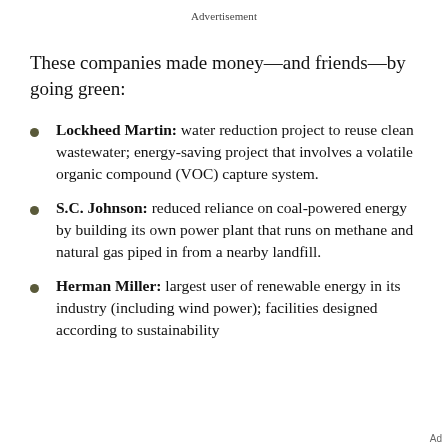Advertisement
These companies made money—and friends—by going green:
Lockheed Martin: water reduction project to reuse clean wastewater; energy-saving project that involves a volatile organic compound (VOC) capture system.
S.C. Johnson: reduced reliance on coal-powered energy by building its own power plant that runs on methane and natural gas piped in from a nearby landfill.
Herman Miller: largest user of renewable energy in its industry (including wind power); facilities designed according to sustainability